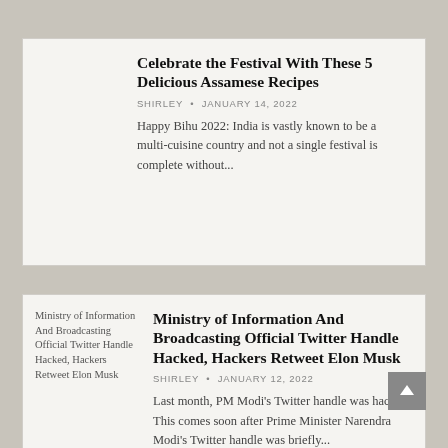Celebrate the Festival With These 5 Delicious Assamese Recipes
SHIRLEY • JANUARY 14, 2022
Happy Bihu 2022: India is vastly known to be a multi-cuisine country and not a single festival is complete without...
[Figure (other): Thumbnail image placeholder for Ministry of Information And Broadcasting Official Twitter Handle Hacked article]
Ministry of Information And Broadcasting Official Twitter Handle Hacked, Hackers Retweet Elon Musk
SHIRLEY • JANUARY 12, 2022
Last month, PM Modi's Twitter handle was hacked. This comes soon after Prime Minister Narendra Modi's Twitter handle was briefly...